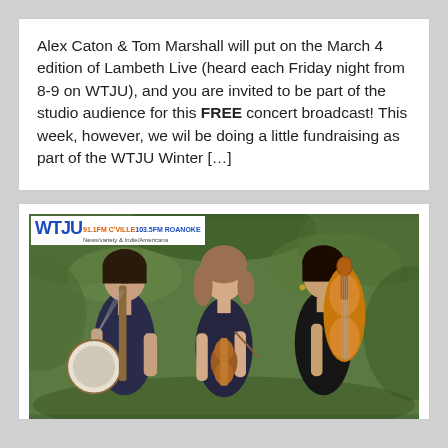Alex Caton & Tom Marshall will put on the March 4 edition of Lambeth Live (heard each Friday night from 8-9 on WTJU), and you are invited to be part of the studio audience for this FREE concert broadcast! This week, however, we wil be doing a little fundraising as part of the WTJU Winter […]
[Figure (photo): Three young women musicians standing outdoors with green foliage background. Left woman holds a banjo, center woman holds a violin/fiddle, right woman holds a cello. All wearing dark dresses/tops. WTJU radio station logo visible in top-left corner.]